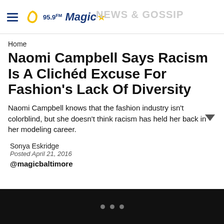95.9 Magic — NEWS & GOSSIP
Home
Naomi Campbell Says Racism Is A Clichéd Excuse For Fashion's Lack Of Diversity
Naomi Campbell knows that the fashion industry isn't colorblind, but she doesn't think racism has held her back in her modeling career.
Sonya Eskridge
Posted April 21, 2016
@magicbaltimore